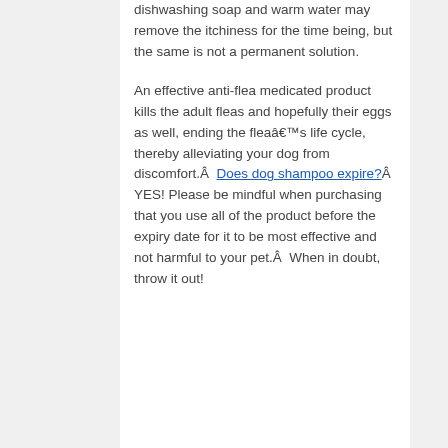dishwashing soap and warm water may remove the itchiness for the time being, but the same is not a permanent solution.

An effective anti-flea medicated product kills the adult fleas and hopefully their eggs as well, ending the fleaâ€™s life cycle, thereby alleviating your dog from discomfort.Â  Does dog shampoo expire?Â  YES! Please be mindful when purchasing that you use all of the product before the expiry date for it to be most effective and not harmful to your pet.Â  When in doubt, throw it out!